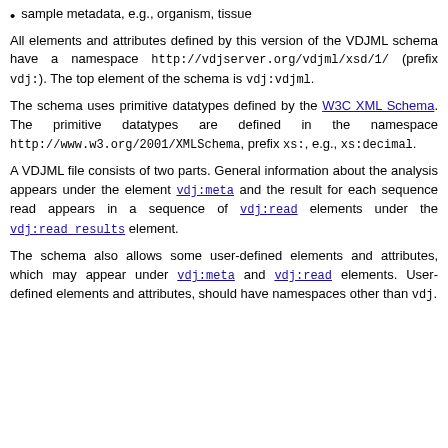sample metadata, e.g., organism, tissue
All elements and attributes defined by this version of the VDJML schema have a namespace http://vdjserver.org/vdjml/xsd/1/ (prefix vdj:). The top element of the schema is vdj:vdjml.
The schema uses primitive datatypes defined by the W3C XML Schema. The primitive datatypes are defined in the namespace http://www.w3.org/2001/XMLSchema, prefix xs:, e.g., xs:decimal.
A VDJML file consists of two parts. General information about the analysis appears under the element vdj:meta and the result for each sequence read appears in a sequence of vdj:read elements under the vdj:read_results element.
The schema also allows some user-defined elements and attributes, which may appear under vdj:meta and vdj:read elements. User-defined elements and attributes, should have namespaces other than vdj.